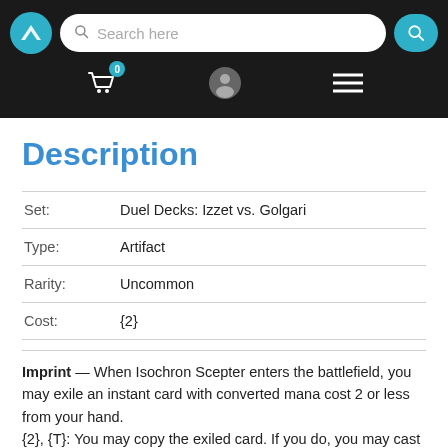Search here [nav bar with logo, search, cart, user, menu]
Description
| Field | Value |
| --- | --- |
| Set: | Duel Decks: Izzet vs. Golgari |
| Type: | Artifact |
| Rarity: | Uncommon |
| Cost: | {2} |
Imprint — When Isochron Scepter enters the battlefield, you may exile an instant card with converted mana cost 2 or less from your hand.
{2}, {T}: You may copy the exiled card. If you do, you may cast the copy without paying its mana cost.